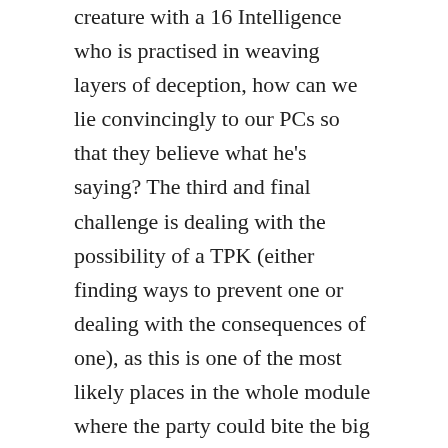creature with a 16 Intelligence who is practised in weaving layers of deception, how can we lie convincingly to our PCs so that they believe what he's saying? The third and final challenge is dealing with the possibility of a TPK (either finding ways to prevent one or dealing with the consequences of one), as this is one of the most likely places in the whole module where the party could bite the big one.
Green Dragon Temperament
In order to answer these questions it's important to get an idea of just what motivates green dragons and what separates them from other dragons.